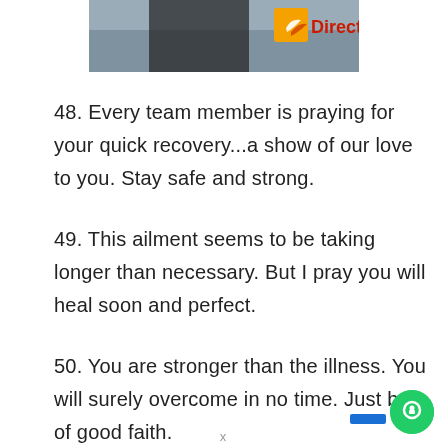[Figure (photo): Partial photo of a person wearing a dark shirt with an orange logo and red 'DirectR' text visible in the upper right corner]
48. Every team member is praying for your quick recovery...a show of our love to you. Stay safe and strong.
49. This ailment seems to be taking longer than necessary. But I pray you will heal soon and perfect.
50. You are stronger than the illness. You will surely overcome in no time. Just be of good faith.